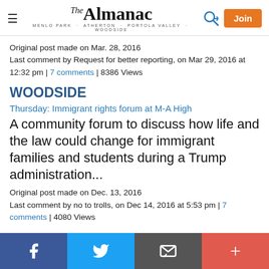The Almanac — MENLO PARK · ATHERTON · PORTOLA VALLEY · WOODSIDE
Original post made on Mar. 28, 2016
Last comment by Request for better reporting, on Mar 29, 2016 at 12:32 pm | 7 comments | 8386 Views
WOODSIDE
Thursday: Immigrant rights forum at M-A High
A community forum to discuss how life and the law could change for immigrant families and students during a Trump administration...
Original post made on Dec. 13, 2016
Last comment by no to trolls, on Dec 14, 2016 at 5:53 pm | 7 comments | 4080 Views
Facebook | Twitter | Email | +